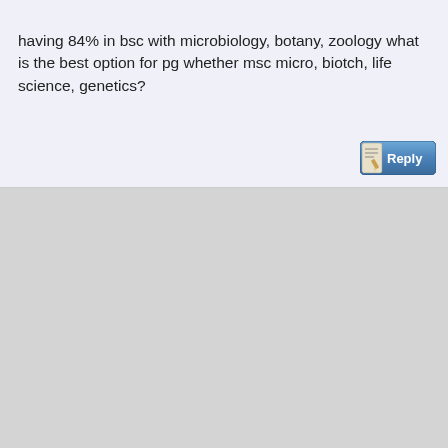having 84% in bsc with microbiology, botany, zoology what is the best option for pg whether msc micro, biotch, life science, genetics?
[Figure (other): Reply button with pencil/paper icon and blue gradient background]